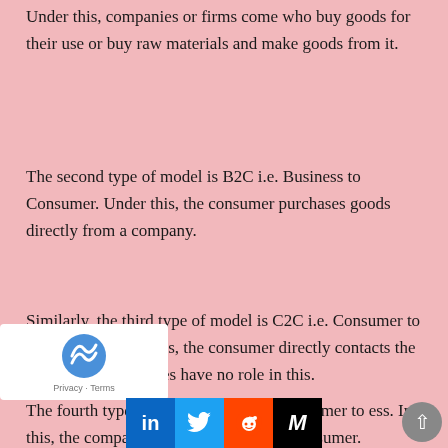Under this, companies or firms come who buy goods for their use or buy raw materials and make goods from it.
The second type of model is B2C i.e. Business to Consumer. Under this, the consumer purchases goods directly from a company.
Similarly, the third type of model is C2C i.e. Consumer to Consumer. Under this, the consumer directly contacts the consumer. Companies have no role in this.
The fourth type of model is C2B i.e. Consumer to Business. In this, the company directly contacts the consumer.